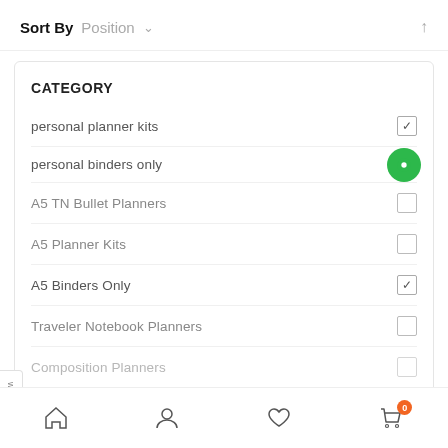Sort By  Position
CATEGORY
personal planner kits — checked
personal binders only — active/selected
A5 TN Bullet Planners — unchecked
A5 Planner Kits — unchecked
A5 Binders Only — checked
Traveler Notebook Planners — unchecked
Composition Planners — unchecked
Home | Account | Wishlist | Cart (0)